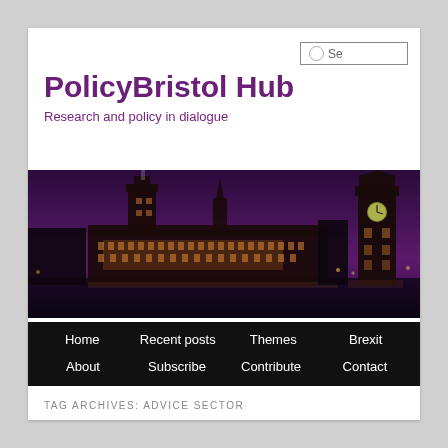PolicyBristol Hub
Research and policy in dialogue
[Figure (photo): Night panoramic photo of the Houses of Parliament and Big Ben in London, illuminated against a purple sky.]
Home | Recent posts | Themes | Brexit | About | Subscribe | Contribute | Contact
TAG ARCHIVES: ADVICE SECTOR